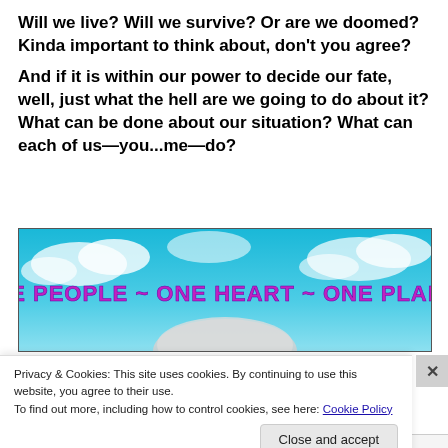Will we live? Will we survive? Or are we doomed? Kinda important to think about, don't you agree?
And if it is within our power to decide our fate, well, just what the hell are we going to do about it? What can be done about our situation? What can each of us—you...me—do?
[Figure (illustration): Banner image with sky/clouds background and large stylized purple text reading 'ONE PEOPLE ~ ONE HEART ~ ONE PLANET' with a partial view of a globe below.]
Privacy & Cookies: This site uses cookies. By continuing to use this website, you agree to their use.
To find out more, including how to control cookies, see here: Cookie Policy
Close and accept